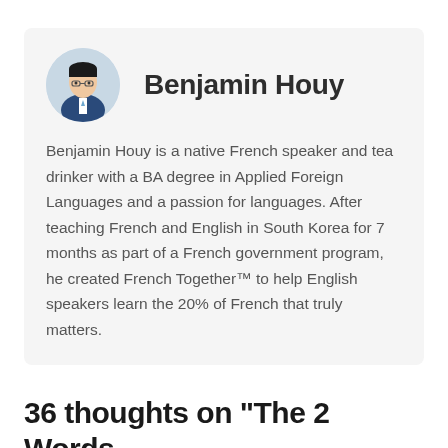[Figure (photo): Circular avatar photo of Benjamin Houy, a man in a suit with glasses]
Benjamin Houy
Benjamin Houy is a native French speaker and tea drinker with a BA degree in Applied Foreign Languages and a passion for languages. After teaching French and English in South Korea for 7 months as part of a French government program, he created French Together™ to help English speakers learn the 20% of French that truly matters.
36 thoughts on “The 2 Words You Need to Create Negative